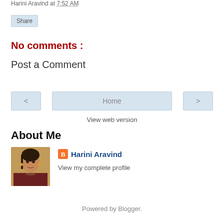Harini Aravind at 7:52 AM
Share
No comments :
Post a Comment
< Home >
View web version
About Me
[Figure (photo): Profile photo of Harini Aravind]
Harini Aravind
View my complete profile
Powered by Blogger.